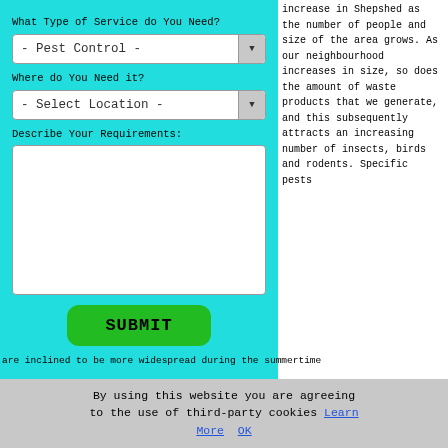What Type of Service do You Need?
- Pest Control -
Where do You Need it?
- Select Location -
Describe Your Requirements:
SUBMIT
increase in Shepshed as the number of people and size of the area grows. As our neighbourhood increases in size, so does the amount of waste products that we generate, and this subsequently attracts an increasing number of insects, birds and rodents. Specific pests
are inclined to be more widespread during the summertime
By using this website you are agreeing to the use of third-party cookies Learn More  OK